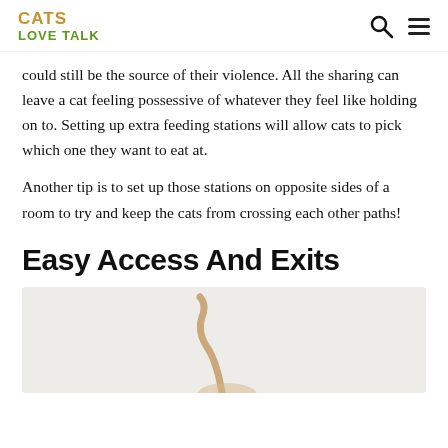CATS LOVE TALK
could still be the source of their violence. All the sharing can leave a cat feeling possessive of whatever they feel like holding on to. Setting up extra feeding stations will allow cats to pick which one they want to eat at.
Another tip is to set up those stations on opposite sides of a room to try and keep the cats from crossing each other paths!
Easy Access And Exits
[Figure (photo): Partial view of a cat, showing a curved tail, on a light beige/white background]